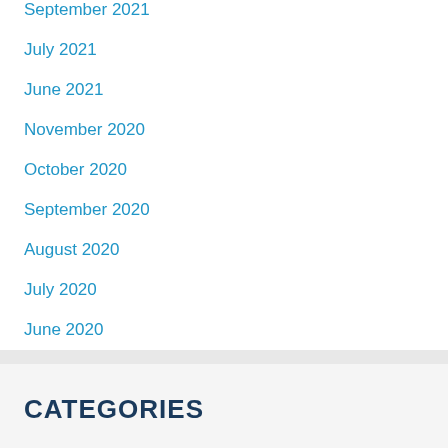September 2021
July 2021
June 2021
November 2020
October 2020
September 2020
August 2020
July 2020
June 2020
CATEGORIES
Absolutely Free Forex EA- FREE Forex Trading Robots /